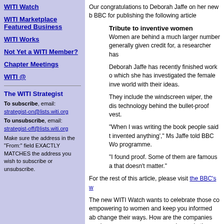WITI Watch
WITI Marketplace Featured Business
WITI Works
Not Yet a WITI Member?
Chapter Meetings
WITI @
The WITI Strategist
To subscribe, email: strategist-on@lists.witi.org
To unsubscribe, email: strategist-off@lists.witi.org
Make sure the address in the "From:" field EXACTLY MATCHES the address you wish to subscribe or unsubscribe.
Our congratulations to Deborah Jaffe on her new book and to the BBC for publishing the following article
Tribute to inventive women
Women are behind a much larger number of inventions than generally given credit for, a researcher has
Deborah Jaffe has recently finished work on a book in which she has investigated the female inve world with their ideas.
They include the windscreen wiper, the di technology behind the bullet-proof vest.
"When I was writing the book people said t invented anything'," Ms Jaffe told BBC Wo programme.
"I found proof. Some of them are famous a that doesn't matter."
For the rest of this article, please visit the BBC's w
The new WITI Watch wants to celebrate those co empowering to women and keep you informed ab change their ways. How are the companies you i women encourage companies and others to take your thoughts and any cheers and jeers or post to
WITI Marketplace
Featured Business